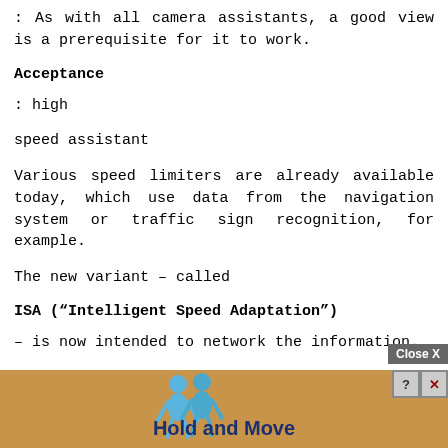: As with all camera assistants, a good view is a prerequisite for it to work.
Acceptance
: high
speed assistant
Various speed limiters are already available today, which use data from the navigation system or traffic sign recognition, for example.
The new variant – called
ISA (“Intelligent Speed Adaptation”)
– is now intended to network the information.
It wa... high and au... wer.
[Figure (screenshot): Advertisement overlay showing 'Close X' button, help/close icons, animated figures, and 'Hold and Move' text on a tan/brown background]